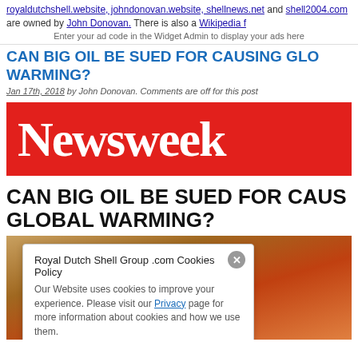royaldutchshell.website, johndonovan.website, shellnews.net and shell2004.com are owned by John Donovan. There is also a Wikipedia f[page]
Enter your ad code in the Widget Admin to display your ads here
CAN BIG OIL BE SUED FOR CAUSING GLO[BAL] WARMING?
Jan 17th, 2018 by John Donovan. Comments are off for this post
[Figure (logo): Newsweek logo — white bold serif text on red background]
CAN BIG OIL BE SUED FOR CAUS[ING] GLOBAL WARMING?
[Figure (photo): Partially visible photograph behind a cookie consent overlay popup]
Royal Dutch Shell Group .com Cookies Policy
Our Website uses cookies to improve your experience. Please visit our Privacy page for more information about cookies and how we use them.